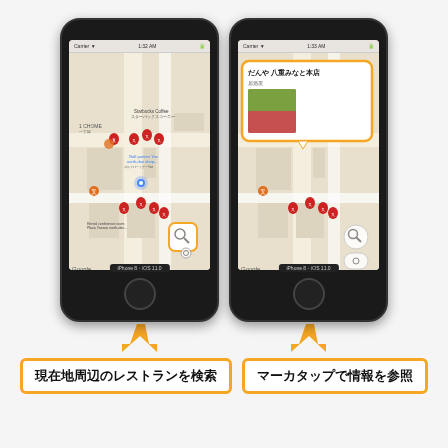[Figure (screenshot): Two iPhone screenshots side by side. Left: Google Maps app showing restaurant markers near current location, with a search button highlighted in yellow. Right: Same map with a marker tapped showing a popup for 'だんや 八重みなと本店' (restaurant) with food photos, highlighted by yellow border. Both screenshots have yellow arrows pointing upward from caption boxes.]
現在地周辺のレストランを検索
マーカタップで情報を参照